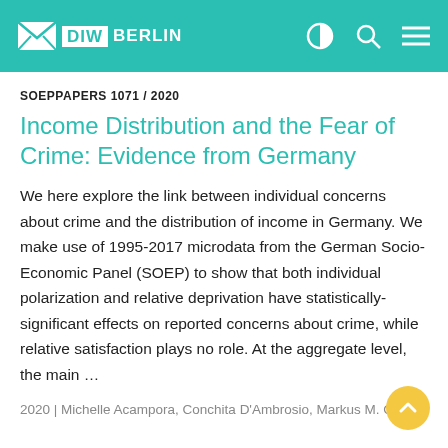DIW BERLIN
SOEPPAPERS 1071 / 2020
Income Distribution and the Fear of Crime: Evidence from Germany
We here explore the link between individual concerns about crime and the distribution of income in Germany. We make use of 1995-2017 microdata from the German Socio-Economic Panel (SOEP) to show that both individual polarization and relative deprivation have statistically-significant effects on reported concerns about crime, while relative satisfaction plays no role. At the aggregate level, the main …
2020 | Michelle Acampora, Conchita D'Ambrosio, Markus M. Grabka